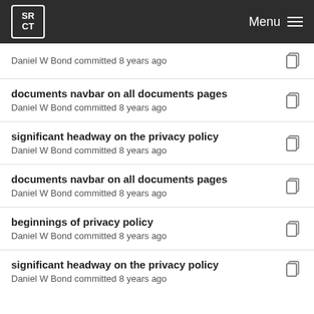SRCT Menu
Daniel W Bond committed 8 years ago
documents navbar on all documents pages
Daniel W Bond committed 8 years ago
significant headway on the privacy policy
Daniel W Bond committed 8 years ago
documents navbar on all documents pages
Daniel W Bond committed 8 years ago
beginnings of privacy policy
Daniel W Bond committed 8 years ago
significant headway on the privacy policy
Daniel W Bond committed 8 years ago
beginnings of privacy policy
Daniel W Bond committed 8 years ago